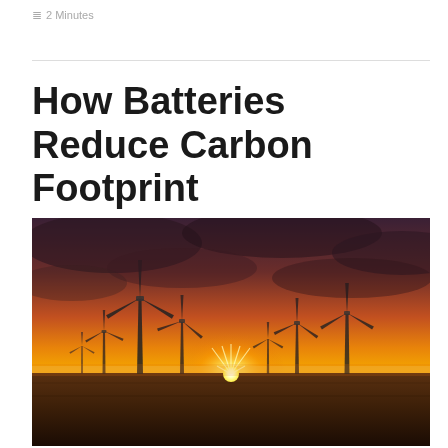2 Minutes
How Batteries Reduce Carbon Footprint
[Figure (photo): Photograph of multiple wind turbines in an open field at sunset, with a dramatic orange and red sky and the sun visible near the horizon casting rays of light.]